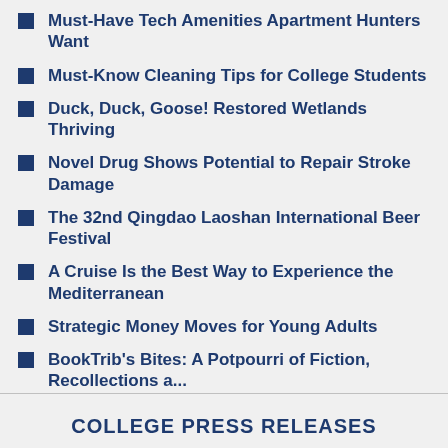Must-Have Tech Amenities Apartment Hunters Want
Must-Know Cleaning Tips for College Students
Duck, Duck, Goose! Restored Wetlands Thriving
Novel Drug Shows Potential to Repair Stroke Damage
The 32nd Qingdao Laoshan International Beer Festival
A Cruise Is the Best Way to Experience the Mediterranean
Strategic Money Moves for Young Adults
BookTrib's Bites: A Potpourri of Fiction, Recollections a...
COLLEGE PRESS RELEASES